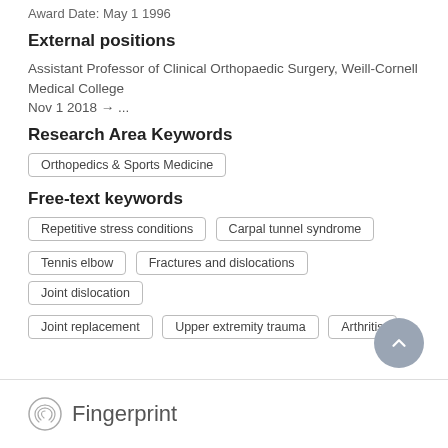Award Date: May 1 1996
External positions
Assistant Professor of Clinical Orthopaedic Surgery, Weill-Cornell Medical College
Nov 1 2018 → ...
Research Area Keywords
Orthopedics & Sports Medicine
Free-text keywords
Repetitive stress conditions
Carpal tunnel syndrome
Tennis elbow
Fractures and dislocations
Joint dislocation
Joint replacement
Upper extremity trauma
Arthritis
Fingerprint